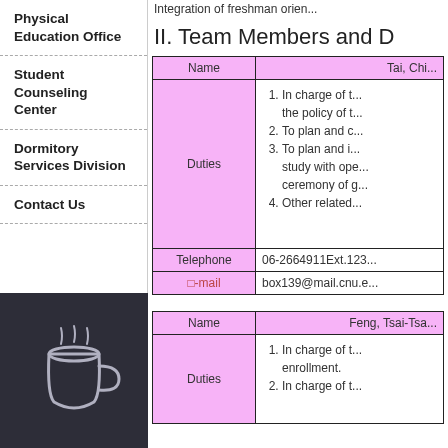Physical Education Office
Student Counseling Center
Dormitory Services Division
Contact Us
Integration of freshman orien...
II. Team Members and D
| Name | Tai, Chi... |
| --- | --- |
| Duties | 1. In charge of t... the policy of t...
2. To plan and c...
3. To plan and i... study with ope... ceremony of g...
4. Other related... |
| Telephone | 06-2664911Ext.123... |
| �-mail | box139@mail.cnu.e... |
| Name | Feng, Tsai-Tsa... |
| --- | --- |
| Duties | 1. In charge of t... enrollment.
2. In charge of t... |
[Figure (illustration): Dark background panel with a white line-art illustration of a coffee cup or similar icon]